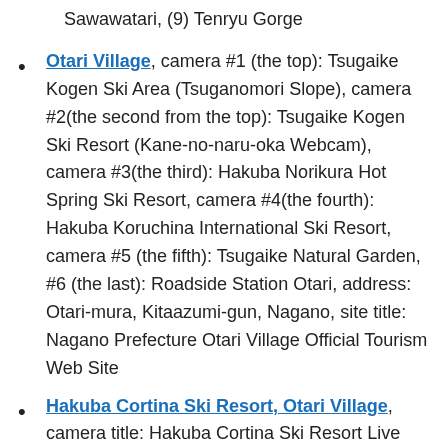Sawawatari, (9) Tenryu Gorge
Otari Village, camera #1 (the top): Tsugaike Kogen Ski Area (Tsuganomori Slope), camera #2(the second from the top): Tsugaike Kogen Ski Resort (Kane-no-naru-oka Webcam), camera #3(the third): Hakuba Norikura Hot Spring Ski Resort, camera #4(the fourth): Hakuba Koruchina International Ski Resort, camera #5 (the fifth): Tsugaike Natural Garden, #6 (the last): Roadside Station Otari, address: Otari-mura, Kitaazumi-gun, Nagano, site title: Nagano Prefecture Otari Village Official Tourism Web Site
Hakuba Cortina Ski Resort, Otari Village, camera title: Hakuba Cortina Ski Resort Live Camera, address: Hakuba Cortina Ski Resort, 12860 Chikuniotsu, Otari-mura, Kitaazumi-gun, Nagano-ken